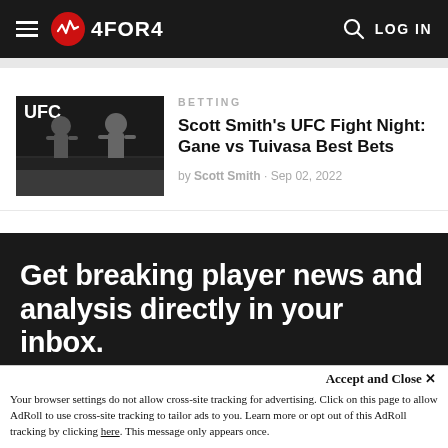4FOR4 — LOG IN
[Figure (screenshot): UFC fighters at weigh-in, two men flexing on stage with UFC backdrop]
BETTING
Scott Smith's UFC Fight Night: Gane vs Tuivasa Best Bets
by Scott Smith · Sep 02, 2022
Get breaking player news and analysis directly in your inbox.
Accept and Close ✕
Your browser settings do not allow cross-site tracking for advertising. Click on this page to allow AdRoll to use cross-site tracking to tailor ads to you. Learn more or opt out of this AdRoll tracking by clicking here. This message only appears once.